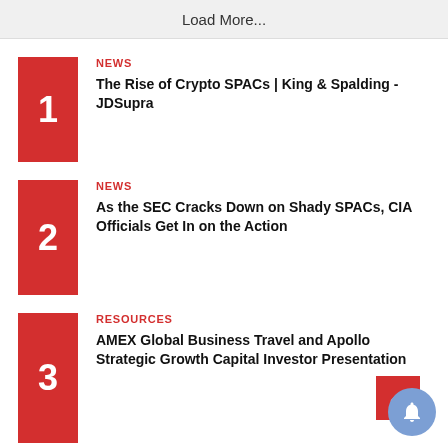Load More...
NEWS
The Rise of Crypto SPACs | King & Spalding - JDSupra
NEWS
As the SEC Cracks Down on Shady SPACs, CIA Officials Get In on the Action
RESOURCES
AMEX Global Business Travel and Apollo Strategic Growth Capital Investor Presentation